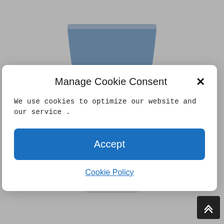[Figure (screenshot): Background showing a blue cosmetic tube/product on a white background, partially obscured by a cookie consent modal overlay.]
Manage Cookie Consent
We use cookies to optimize our website and our service .
Accept
Cookie Policy